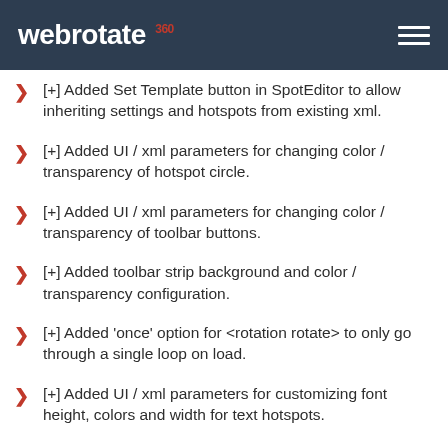webrotate 360
[+] Added Set Template button in SpotEditor to allow inheriting settings and hotspots from existing xml.
[+] Added UI / xml parameters for changing color / transparency of hotspot circle.
[+] Added UI / xml parameters for changing color / transparency of toolbar buttons.
[+] Added toolbar strip background and color / transparency configuration.
[+] Added 'once' option for <rotation rotate> to only go through a single loop on load.
[+] Added UI / xml parameters for customizing font height, colors and width for text hotspots.
[!] Fixed issue with toggle buttons erroneously switching state.
[!] Fixed issue where hotspot toggle button was...